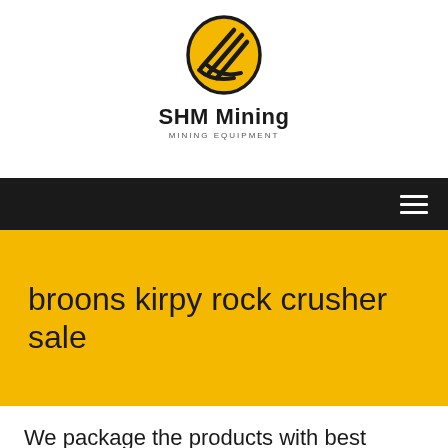[Figure (logo): SHM Mining logo: yellow oval with black diagonal stripes, company name 'SHM Mining' in bold and 'MINING EQUIPMENT' in small caps below]
broons kirpy rock crusher sale
We package the products with best